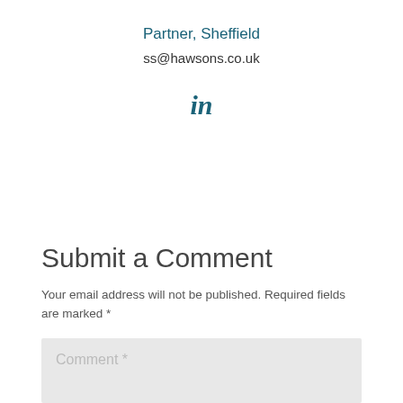Partner, Sheffield
ss@hawsons.co.uk
[Figure (logo): LinkedIn 'in' icon in teal color]
Submit a Comment
Your email address will not be published. Required fields are marked *
Comment *